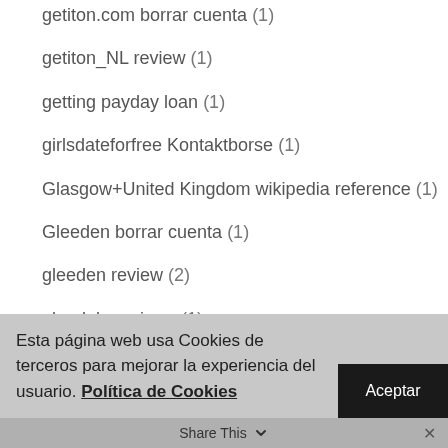getiton.com borrar cuenta (1)
getiton_NL review (1)
getting payday loan (1)
girlsdateforfree Kontaktborse (1)
Glasgow+United Kingdom wikipedia reference (1)
Gleeden borrar cuenta (1)
gleeden review (2)
glendale reviews (1)
Esta página web usa Cookies de terceros para mejorar la experiencia del usuario. Política de Cookies
Share This